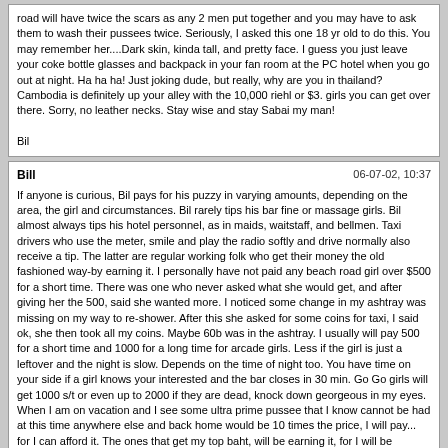road will have twice the scars as any 2 men put together and you may have to ask them to wash their pussees twice. Seriously, I asked this one 18 yr old to do this. You may remember her....Dark skin, kinda tall, and pretty face. I guess you just leave your coke bottle glasses and backpack in your fan room at the PC hotel when you go out at night. Ha ha ha! Just joking dude, but really, why are you in thailand? Cambodia is definitely up your alley with the 10,000 riehl or $3. girls you can get over there. Sorry, no leather necks. Stay wise and stay Sabai my man!

Bil
If anyone is curious, Bil pays for his puzzy in varying amounts, depending on the area, the girl and circumstances. Bil rarely tips his bar fine or massage girls. Bil almost always tips his hotel personnel, as in maids, waitstaff, and bellmen. Taxi drivers who use the meter, smile and play the radio softly and drive normally also receive a tip. The latter are regular working folk who get their money the old fashioned way-by earning it. I personally have not paid any beach road girl over $500 for a short time. There was one who never asked what she would get, and after giving her the 500, said she wanted more. I noticed some change in my ashtray was missing on my way to re-shower. After this she asked for some coins for taxi, I said ok, she then took all my coins. Maybe 60b was in the ashtray. I usually will pay 500 for a short time and 1000 for a long time for arcade girls. Less if the girl is just a leftover and the night is slow. Depends on the time of night too. You have time on your side if a girl knows your interested and the bar closes in 30 min. Go Go girls will get 1000 s/t or even up to 2000 if they are dead, knock down georgeous in my eyes. When I am on vacation and I see some ultra prime pussee that I know cannot be had at this time anywhere else and back home would be 10 times the price, I will pay... for I can afford it. The ones that get my top baht, will be earning it, for I will be humping non stop stopping only for water breaks, or a shower. 2 nut minimum. Somehow for me, too much negotiation takes away the mood. I know in the past, if I get a girl to agree for less than 500, I feel that something might get stolen, or I get a shitty attitude when in the room. I never fukked a girl over 28 in Thailand. Never had one appeal to me.